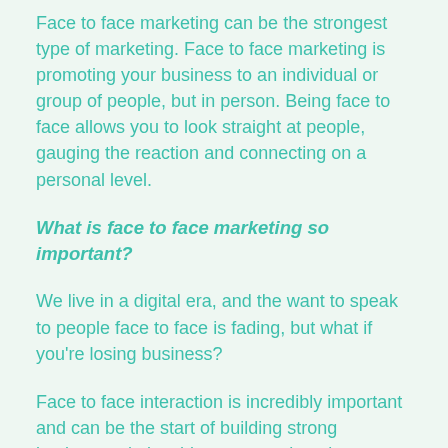Face to face marketing can be the strongest type of marketing. Face to face marketing is promoting your business to an individual or group of people, but in person. Being face to face allows you to look straight at people, gauging the reaction and connecting on a personal level.
What is face to face marketing so important?
We live in a digital era, and the want to speak to people face to face is fading, but what if you're losing business?
Face to face interaction is incredibly important and can be the start of building strong business relationships, trust and getting to know the people you are getting